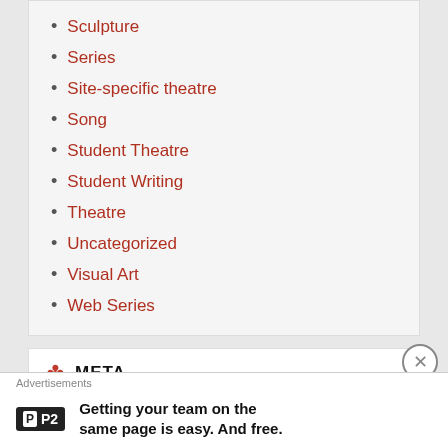Sculpture
Series
Site-specific theatre
Song
Student Theatre
Student Writing
Theatre
Uncategorized
Visual Art
Web Series
META
Log in
Entries feed
Comments feed
WordPress.org
Advertisements
Getting your team on the same page is easy. And free.